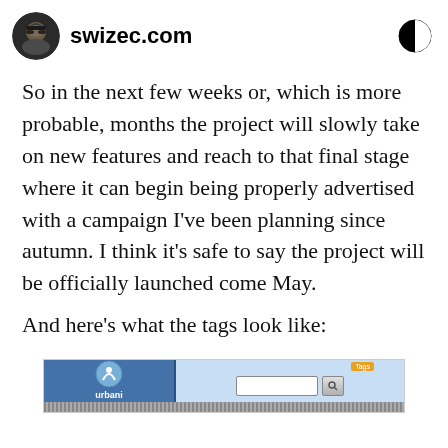swizec.com
So in the next few weeks or, which is more probable, months the project will slowly take on new features and reach to that final stage where it can begin being properly advertised with a campaign I've been planning since autumn. I think it's safe to say the project will be officially launched come May.
And here's what the tags look like:
[Figure (screenshot): Screenshot of a website interface showing a logo on the left side and a search bar with button on the right, with a decorative pattern bar at the bottom]